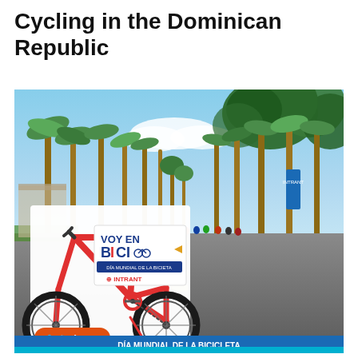Cycling in the Dominican Republic
[Figure (photo): Street photo of a cycling event in the Dominican Republic. A palm-tree-lined boulevard with cyclists in the distance, blue sky overhead. In the foreground is a large cardboard cutout of a red bicycle with a sign reading 'VOY EN BICI' and 'INTRANT'. Social media icons visible at the bottom left of the cutout. A blue banner at the bottom reads 'DÍA MUNDIAL DE LA BICICLETA'.]